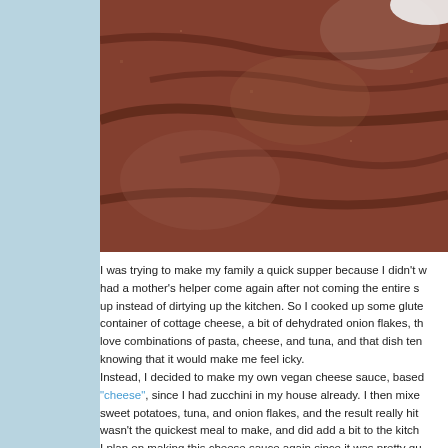[Figure (photo): Close-up photo of food items, appearing to be baked or cooked items with a reddish-brown textured surface, partially visible at the top of the page.]
I was trying to make my family a quick supper because I didn't want to had a mother's helper come again after not coming the entire s... up instead of dirtying up the kitchen. So I cooked up some glute... container of cottage cheese, a bit of dehydrated onion flakes, the... love combinations of pasta, cheese, and tuna, and that dish ten... knowing that it would make me feel icky. Instead, I decided to make my own vegan cheese sauce, based... "cheese", since I had zucchini in my house already. I then mixe... sweet potatoes, tuna, and onion flakes, and the result really hit... wasn't the quickest meal to make, and did add a bit to the kitche... I plan on making this cheese sauce again since it was pretty qu... sauces with tapioca starch but since the local stores were out la... thicker sauce that is vegetable heavy and nutritious, especially... legal, allergy friendly, etc... As with all vegan cheeses, you can't expect it to taste exactly li... combination works to give you the cheesiness that you were cra...